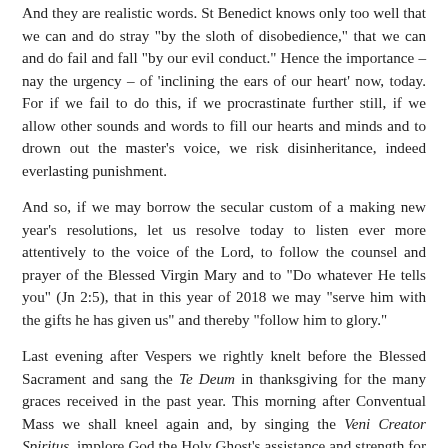And they are realistic words. St Benedict knows only too well that we can and do stray "by the sloth of disobedience," that we can and do fail and fall "by our evil conduct." Hence the importance – nay the urgency – of 'inclining the ears of our heart' now, today. For if we fail to do this, if we procrastinate further still, if we allow other sounds and words to fill our hearts and minds and to drown out the master's voice, we risk disinheritance, indeed everlasting punishment.
And so, if we may borrow the secular custom of a making new year's resolutions, let us resolve today to listen ever more attentively to the voice of the Lord, to follow the counsel and prayer of the Blessed Virgin Mary and to "Do whatever He tells you" (Jn 2:5), that in this year of 2018 we may "serve him with the gifts he has given us" and thereby "follow him to glory."
Last evening after Vespers we rightly knelt before the Blessed Sacrament and sang the Te Deum in thanksgiving for the many graces received in the past year. This morning after Conventual Mass we shall kneel again and, by singing the Veni Creator Spiritus, implore God the Holy Ghost's assistance and strength for the coming year. Let us open our hearts that He may fill them with heavenly grace, that our